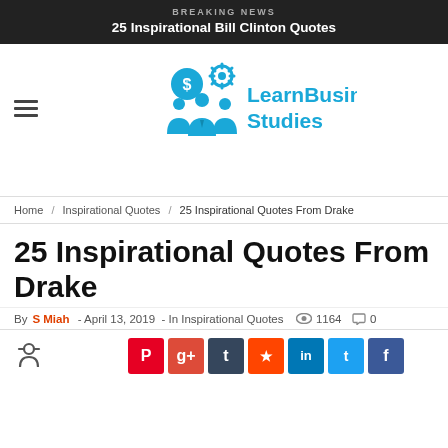BREAKING NEWS
25 Inspirational Bill Clinton Quotes
[Figure (logo): LearnBusinessStudies logo with blue business people silhouettes and gear/dollar icons]
Home / Inspirational Quotes / 25 Inspirational Quotes From Drake
25 Inspirational Quotes From Drake
By S Miah - April 13, 2019 - In Inspirational Quotes  1164  0